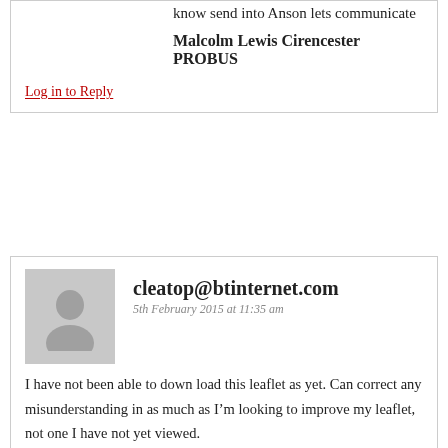know send into Anson lets communicate
Malcolm Lewis Cirencester PROBUS
Log in to Reply
cleatop@btinternet.com
5th February 2015 at 11:35 am
I have not been able to down load this leaflet as yet. Can correct any misunderstanding in as much as I’m looking to improve my leaflet, not one I have not yet viewed.
Log in to Reply
Webmaster
2nd February 2015 at 4:27 pm